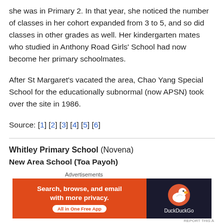she was in Primary 2. In that year, she noticed the number of classes in her cohort expanded from 3 to 5, and so did classes in other grades as well. Her kindergarten mates who studied in Anthony Road Girls' School had now become her primary schoolmates.
After St Margaret's vacated the area, Chao Yang Special School for the educationally subnormal (now APSN) took over the site in 1986.
Source: [1] [2] [3] [4] [5] [6]
Whitley Primary School (Novena)
New Area School (Toa Payoh)
[Figure (other): DuckDuckGo advertisement banner: orange left panel with text 'Search, browse, and email with more privacy. All in One Free App' and dark right panel with DuckDuckGo duck logo]